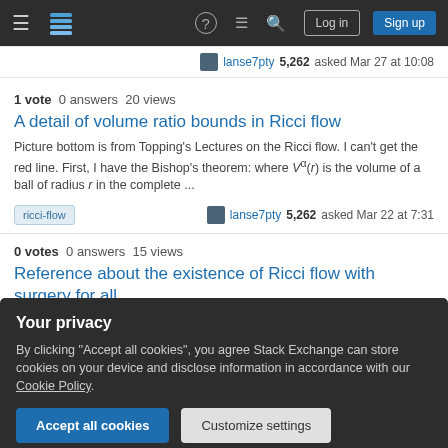Stack Exchange navigation bar with hamburger menu, logo, help, chat, search icons, Log in and Sign up buttons
lanse7pty 5,262 asked Mar 27 at 10:08
1 vote  0 answers  20 views
A detail of volume ratio bounds in Ricci flow
Picture bottom is from Topping's Lectures on the Ricci flow. I can't get the red line. First, I have the Bishop's theorem: where V^α(r) is the volume of a ball of radius r in the complete ...
ricci-flow   lanse7pty 5,262 asked Mar 22 at 7:31
0 votes  0 answers  15 views
Reference about the existence of Ricci flow with surgery for all
Your privacy
By clicking "Accept all cookies", you agree Stack Exchange can store cookies on your device and disclose information in accordance with our Cookie Policy.
Accept all cookies
Customize settings